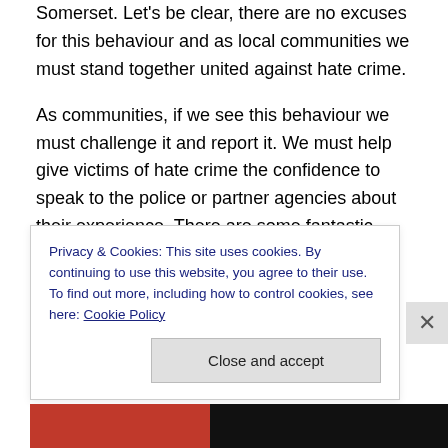Somerset. Let's be clear, there are no excuses for this behaviour and as local communities we must stand together united against hate crime.
As communities, if we see this behaviour we must challenge it and report it. We must help give victims of hate crime the confidence to speak to the police or partner agencies about their experience. There are some fantastic organisations offering support to victims of hate crime and we need to ensure victims know where to go for support.
I believe we must take pride in the rich, multi-cultural and
Privacy & Cookies: This site uses cookies. By continuing to use this website, you agree to their use.
To find out more, including how to control cookies, see here: Cookie Policy